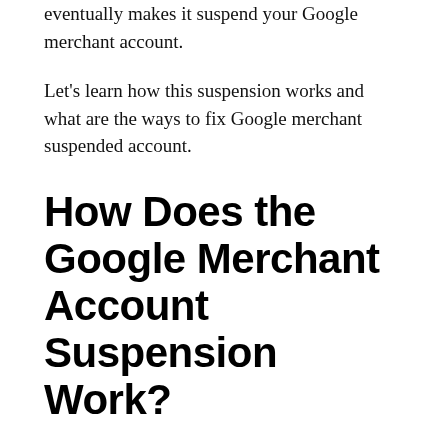eventually makes it suspend your Google merchant account.
Let's learn how this suspension works and what are the ways to fix Google merchant suspended account.
How Does the Google Merchant Account Suspension Work?
The account suspension is an act to remove unfair business practitioners. It works to enhance the experience of buyers and sets an example to those who indulge in malicious practice. You need to understand how the suspension works before learning how to fix it.